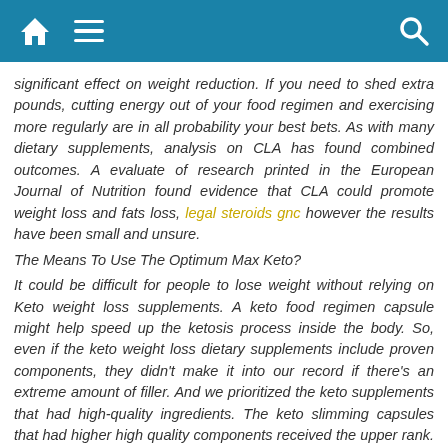Navigation bar with home, menu, and search icons
significant effect on weight reduction. If you need to shed extra pounds, cutting energy out of your food regimen and exercising more regularly are in all probability your best bets. As with many dietary supplements, analysis on CLA has found combined outcomes. A evaluate of research printed in the European Journal of Nutrition found evidence that CLA could promote weight loss and fats loss, legal steroids gnc however the results have been small and unsure.
The Means To Use The Optimum Max Keto?
It could be difficult for people to lose weight without relying on Keto weight loss supplements. A keto food regimen capsule might help speed up the ketosis process inside the body. So, even if the keto weight loss dietary supplements include proven components, they didn't make it into our record if there's an extreme amount of filler. And we prioritized the keto supplements that had high-quality ingredients. The keto slimming capsules that had higher high quality components received the upper rank. And the numerous half is that you'll not should exercise that a lot to achieve that. The ingredients of those keto weight loss